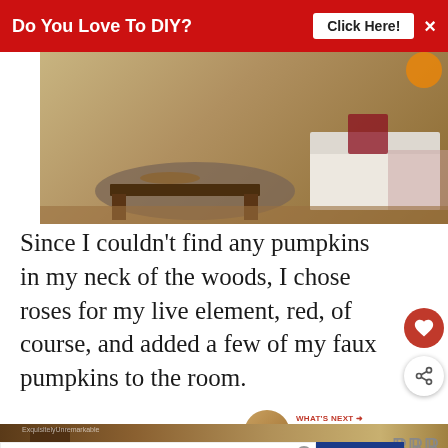Do You Love To DIY?  Click Here!  ×
[Figure (photo): Living room scene with a dark wood coffee table on a round braided rug, white sofa, and fall pumpkin decorations on a tray on the coffee table.]
Since I couldn't find any pumpkins in my neck of the woods, I chose roses for my live element, red, of course, and added a few of my faux pumpkins to the room.
[Figure (infographic): WHAT'S NEXT → Decorating For Fall: The... with a thumbnail of a fall decoration on a cake stand.]
[Figure (photo): Bottom portion of another room photo, partially cut off, showing wooden furniture and fall decor.]
[Figure (screenshot): Operation Gratitude advertisement: SAY THANK YOU TO DEPLOYED TROOPS, with star logo and patriotic owl graphic. Also shows an X close button.]